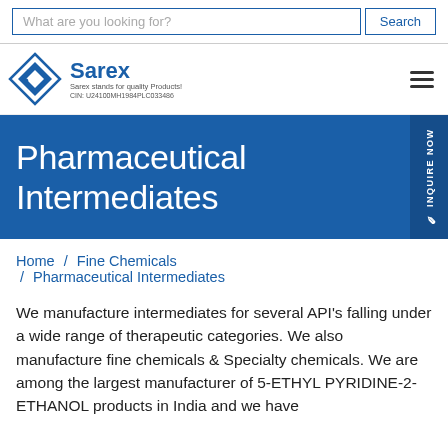What are you looking for? Search
[Figure (logo): Sarex company logo with diamond-shaped icon in blue, company name 'Sarex', tagline 'Sarex stands for quality Products!', CIN: U24100MH1984PLC033486]
Pharmaceutical Intermediates
Home / Fine Chemicals / Pharmaceutical Intermediates
We manufacture intermediates for several API's falling under a wide range of therapeutic categories. We also manufacture fine chemicals & Specialty chemicals. We are among the largest manufacturer of 5-ETHYL PYRIDINE-2-ETHANOL products in India and we have